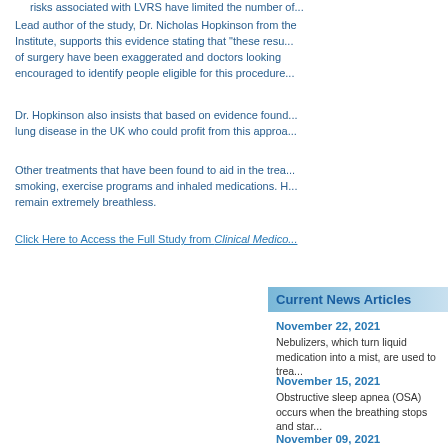risks associated with LVRS have limited the number of...
Lead author of the study, Dr. Nicholas Hopkinson from the Institute, supports this evidence stating that "these results of surgery have been exaggerated and doctors looking encouraged to identify people eligible for this procedure.
Dr. Hopkinson also insists that based on evidence found lung disease in the UK who could profit from this approach.
Other treatments that have been found to aid in the treatment smoking, exercise programs and inhaled medications. However remain extremely breathless.
Click Here to Access the Full Study from Clinical Medico...
Current News Articles
November 22, 2021
Nebulizers, which turn liquid medication into a mist, are used to trea...
November 15, 2021
Obstructive sleep apnea (OSA) occurs when the breathing stops and star...
November 09, 2021